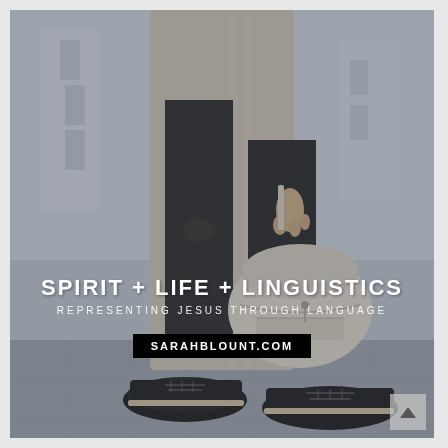[Figure (photo): Photo of a person from waist down wearing a long knit cardigan, black ripped jeans, and black oxford shoes, holding a small cream/white backpack. Background is an outdoor urban setting with blurred architecture.]
SPIRIT + LIFE + LINGUISTICS
REPRESENTING JESUS THROUGH LANGUAGE
SARAHBLOUNT.COM